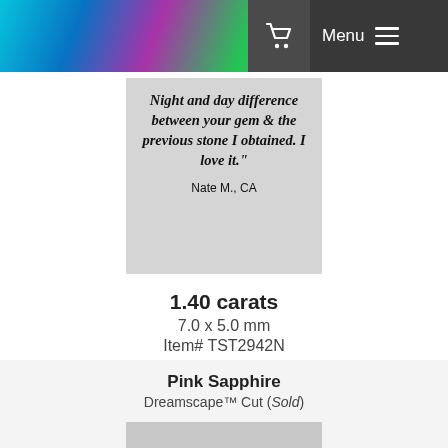Menu
[Figure (screenshot): Website header with colorful gem imagery, shopping cart icon, Menu button and hamburger icon on dark background]
[Figure (photo): Customer testimonial quote on light gray background: 'Night and day difference between your gem & the previous stone I obtained. I love it.' — Nate M., CA]
1.40 carats
7.0 x 5.0 mm
Item# TST2942N
Retail price: $ 4,984
SOLD
Pink Sapphire
Dreamscape™ Cut (Sold)